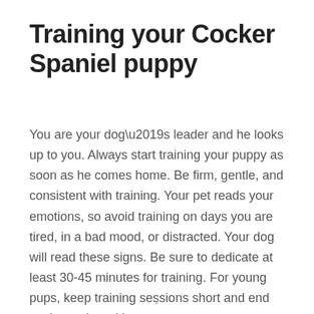Training your Cocker Spaniel puppy
You are your dog’s leader and he looks up to you. Always start training your puppy as soon as he comes home. Be firm, gentle, and consistent with training. Your pet reads your emotions, so avoid training on days you are tired, in a bad mood, or distracted. Your dog will read these signs. Be sure to dedicate at least 30-45 minutes for training. For young pups, keep training sessions short and end each session with
v